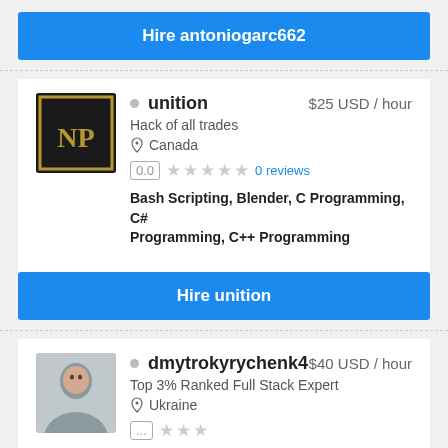[Figure (other): Blue button: Hire antoniogarc662]
[Figure (other): Freelancer card: unition, $25 USD / hour, Hack of all trades, Canada, 0.0 rating, 0 reviews, Bash Scripting, Blender, C Programming, C# Programming, C++ Programming]
[Figure (other): Blue button: Hire unition]
[Figure (other): Freelancer card: dmytrokyrychenk4, $40 USD / hour, Top 3% Ranked Full Stack Expert, Ukraine]